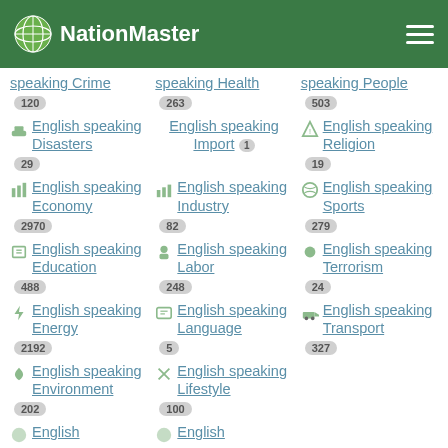NationMaster
English speaking Crime 120
English speaking Health 263
English speaking People 503
English speaking Disasters 29
English speaking Import 1
English speaking Religion 19
English speaking Economy 2970
English speaking Industry 82
English speaking Sports 279
English speaking Education 488
English speaking Labor 248
English speaking Terrorism 24
English speaking Energy 2192
English speaking Language 5
English speaking Transport 327
English speaking Environment 202
English speaking Lifestyle 100